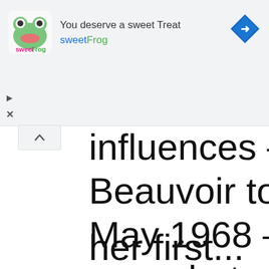[Figure (screenshot): sweetFrog advertisement banner with logo, tagline 'You deserve a sweet Treat', brand name 'sweetFrog', and navigation arrow icon]
influences — from ... Beauvoir to the soci... May 1968 — are ca... snapshots in “The Y... weaves together ne... autobiography and l...
her first...